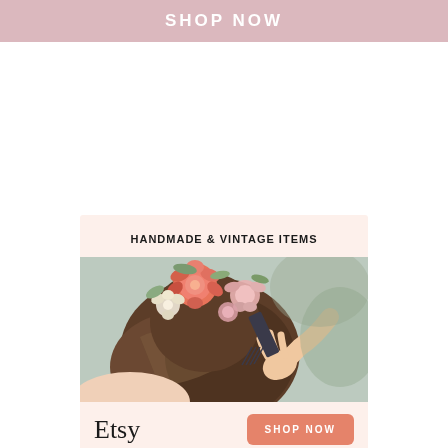SHOP NOW
[Figure (photo): Advertisement card for Etsy showing a woman with floral hair accessories being arranged by a hand holding a comb. Card has peach/blush background with text 'HANDMADE & VINTAGE ITEMS', Etsy logo, and a SHOP NOW button.]
HANDMADE & VINTAGE ITEMS
Etsy
SHOP NOW